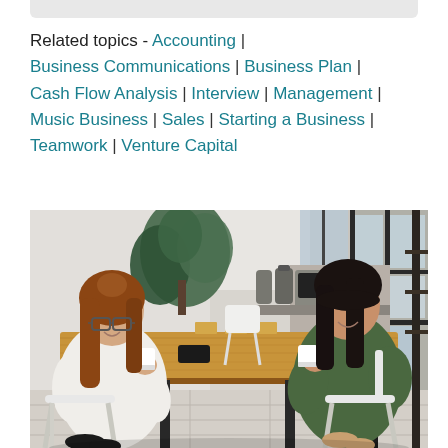Related topics - Accounting | Business Communications | Business Plan | Cash Flow Analysis | Interview | Management | Music Business | Sales | Starting a Business | Teamwork | Venture Capital
[Figure (photo): Two women sitting across from each other at a long wooden table in a modern office/cafe setting, appearing to have a conversation. One woman on the left has glasses and long brown hair wearing a white blouse; one on the right has dark hair wearing a green top. Background shows a plant, microwave, kitchen items, and large windows.]